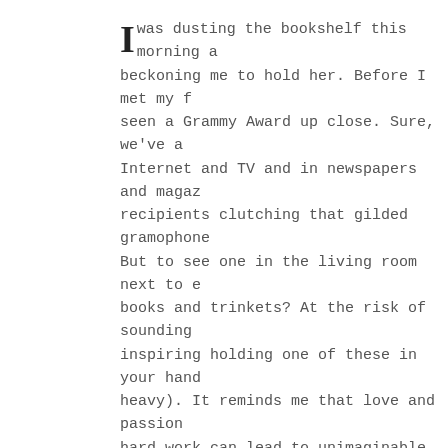I was dusting the bookshelf this morning a beckoning me to hold her. Before I met my f seen a Grammy Award up close. Sure, we've a Internet and TV and in newspapers and magaz recipients clutching that gilded gramophone But to see one in the living room next to e books and trinkets? At the risk of sounding inspiring holding one of these in your han heavy). It reminds me that love and passio hard work can lead to unimaginable opportu dreams.
Peter Salaff won this Grammy 17 years ago f Performance with the Cleveland Quartet. As leading string quartets for more than two d fellow bandmates were quite the rock stars world. From Paris, Tokyo and the former Sov Salzberg and Berlin -- and even a private m Carter's White House, my father-in-law pla